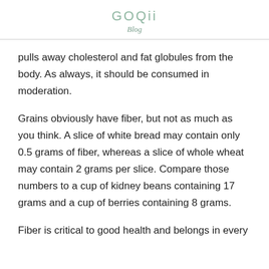GOQii
Blog
pulls away cholesterol and fat globules from the body. As always, it should be consumed in moderation.
Grains obviously have fiber, but not as much as you think. A slice of white bread may contain only 0.5 grams of fiber, whereas a slice of whole wheat may contain 2 grams per slice. Compare those numbers to a cup of kidney beans containing 17 grams and a cup of berries containing 8 grams.
Fiber is critical to good health and belongs in every